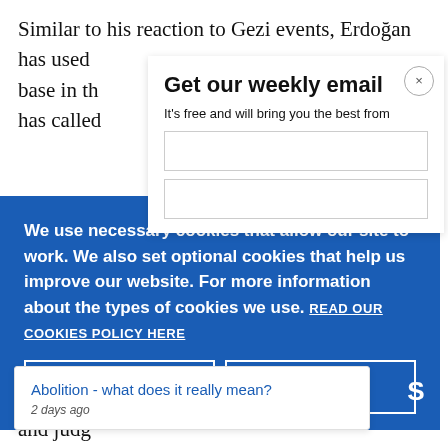Similar to his reaction to Gezi events, Erdoğan has used... base in th... has called
[Figure (screenshot): Get our weekly email modal overlay with close button, subtitle text 'It's free and will bring you the best from', and two input fields]
We use necessary cookies that allow our site to work. We also set optional cookies that help us improve our website. For more information about the types of cookies we use. READ OUR COOKIES POLICY HERE
[Figure (screenshot): Cookie consent banner with blue background, two buttons: COOKIE and ALLOW, with X circle button overlay and tooltip card showing 'Abolition - what does it really mean?' link and '2 days ago' timestamp, plus partial 'data.' and 'S' text on right side]
and judg